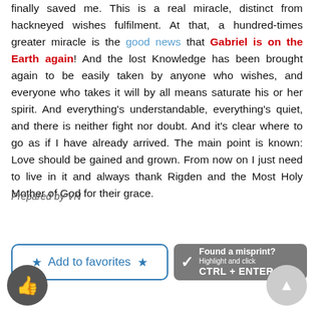finally saved me. This is a real miracle, distinct from hackneyed wishes fulfilment. At that, a hundred-times greater miracle is the good news that Gabriel is on the Earth again! And the lost Knowledge has been brought again to be easily taken by anyone who wishes, and everyone who takes it will by all means saturate his or her spirit. And everything's understandable, everything's quiet, and there is neither fight nor doubt. And it's clear where to go as if I have already arrived. The main point is known: Love should be gained and grown. From now on I just need to live in it and always thank Rigden and the Most Holy Mother of God for their grace.
Prepared by VN
[Figure (other): Add to favorites button with blue border and star icons]
[Figure (other): Found a misprint? Highlight and click CTRL+ENTER button on grey background with checkmark]
[Figure (other): Thumbs up icon in dark grey circle]
[Figure (other): Up arrow icon in light grey circle]